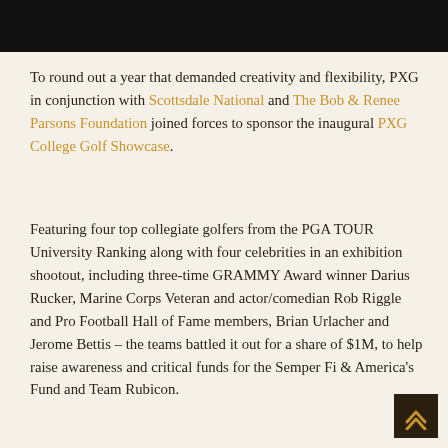[Figure (other): Black banner/header bar at the top of the page]
To round out a year that demanded creativity and flexibility, PXG in conjunction with Scottsdale National and The Bob & Renee Parsons Foundation joined forces to sponsor the inaugural PXG College Golf Showcase.
Featuring four top collegiate golfers from the PGA TOUR University Ranking along with four celebrities in an exhibition shootout, including three-time GRAMMY Award winner Darius Rucker, Marine Corps Veteran and actor/comedian Rob Riggle and Pro Football Hall of Fame members, Brian Urlacher and Jerome Bettis – the teams battled it out for a share of $1M, to help raise awareness and critical funds for the Semper Fi & America's Fund and Team Rubicon.